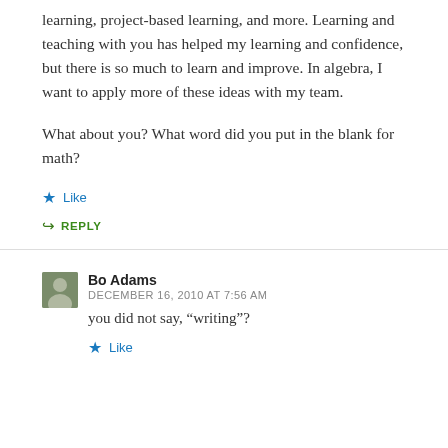learning, project-based learning, and more. Learning and teaching with you has helped my learning and confidence, but there is so much to learn and improve. In algebra, I want to apply more of these ideas with my team.
What about you? What word did you put in the blank for math?
Like
REPLY
Bo Adams
DECEMBER 16, 2010 AT 7:56 AM
you did not say, “writing”?
Like